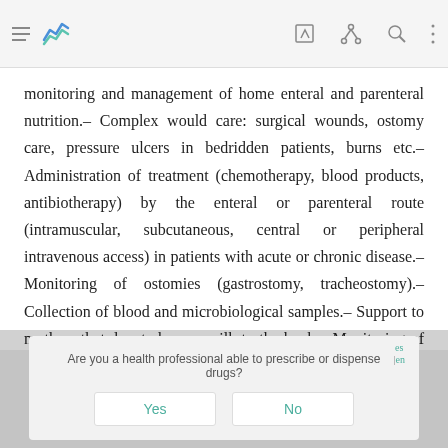[Figure (screenshot): Mobile app toolbar with hamburger menu icon, blue analytics logo, edit icon, share/network icon, search icon, and more options icon]
monitoring and management of home enteral and parenteral nutrition.– Complex would care: surgical wounds, ostomy care, pressure ulcers in bedridden patients, burns etc.– Administration of treatment (chemotherapy, blood products, antibiotherapy) by the enteral or parenteral route (intramuscular, subcutaneous, central or peripheral intravenous access) in patients with acute or chronic disease.– Monitoring of ostomies (gastrostomy, tracheostomy).– Collection of blood and microbiological samples.– Support to mothers that donate human milk to the bank.– Monitoring of infants at risk of sudden infant death syndrome.– Palliative care...
Are you a health professional able to prescribe or dispense drugs?